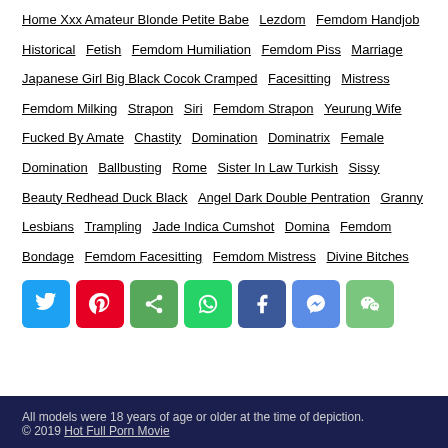Home Xxx Amateur Blonde Petite Babe   Lezdom   Femdom Handjob   Historical   Fetish   Femdom Humiliation   Femdom Piss   Marriage   Japanese Girl Big Black Cocok Cramped   Facesitting   Mistress   Femdom Milking   Strapon   Siri   Femdom Strapon   Yeurung Wife Fucked By Amate   Chastity   Domination   Dominatrix   Female Domination   Ballbusting   Rome   Sister In Law Turkish   Sissy   Beauty Redhead Duck Black   Angel Dark Double Pentration   Granny Lesbians   Trampling   Jade Indica Cumshot   Domina   Femdom Bondage   Femdom Facesitting   Femdom Mistress   Divine Bitches
[Figure (other): Social sharing buttons: Twitter, Pinterest, Share, WhatsApp, Facebook, Messenger, WeChat]
All models were 18 years of age or older at the time of depiction. © 2019 Hot Full Porn Movie